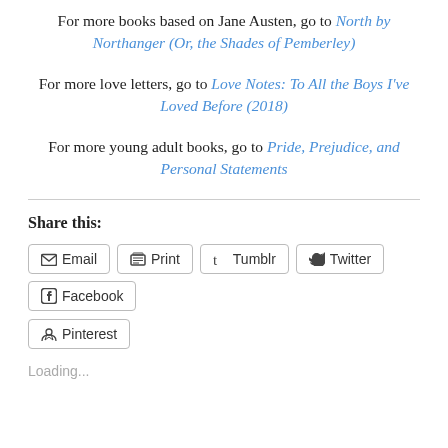For more books based on Jane Austen, go to North by Northanger (Or, the Shades of Pemberley)
For more love letters, go to Love Notes: To All the Boys I've Loved Before (2018)
For more young adult books, go to Pride, Prejudice, and Personal Statements
Share this:
Email   Print   Tumblr   Twitter   Facebook   Pinterest
Loading...